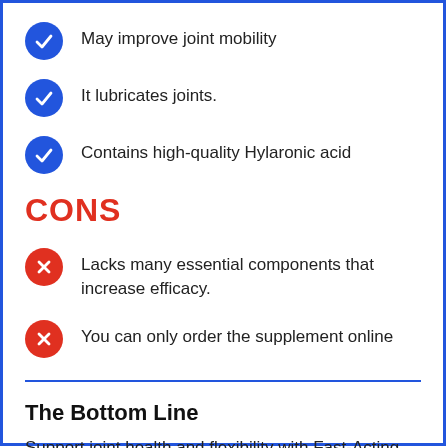May improve joint mobility
It lubricates joints.
Contains high-quality Hylaronic acid
CONS
Lacks many essential components that increase efficacy.
You can only order the supplement online
The Bottom Line
Support joint health and flexibility with Fast-Acting